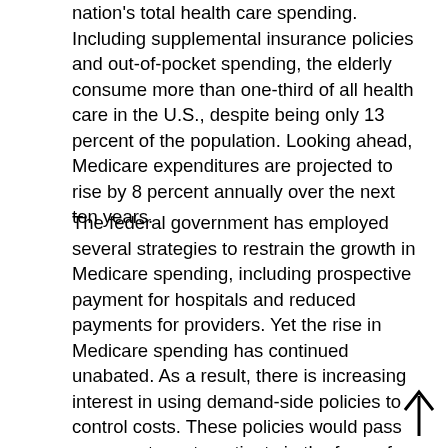nation's total health care spending. Including supplemental insurance policies and out-of-pocket spending, the elderly consume more than one-third of all health care in the U.S., despite being only 13 percent of the population. Looking ahead, Medicare expenditures are projected to rise by 8 percent annually over the next ten years.
The federal government has employed several strategies to restrain the growth in Medicare spending, including prospective payment for hospitals and reduced payments for providers. Yet the rise in Medicare spending has continued unabated. As a result, there is increasing interest in using demand-side policies to control costs. These policies would pass more costs on to patients in the form of copayments and deductibles in order to induce them to use less health care.